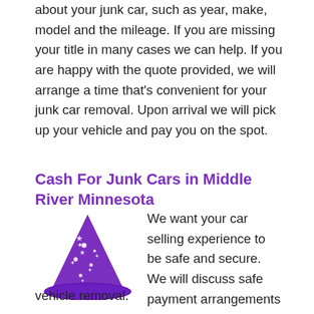about your junk car, such as year, make, model and the mileage. If you are missing your title in many cases we can help. If you are happy with the quote provided, we will arrange a time that's convenient for your junk car removal. Upon arrival we will pick up your vehicle and pay you on the spot.
Cash For Junk Cars in Middle River Minnesota
[Figure (illustration): Purple wizard hat with white stars]
We want your car selling experience to be safe and secure. We will discuss safe payment arrangements with you before vehicle removal.